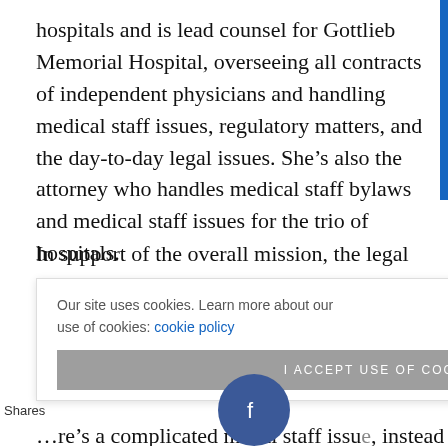hospitals and is lead counsel for Gottlieb Memorial Hospital, overseeing all contracts of independent physicians and handling medical staff issues, regulatory matters, and the day-to-day legal issues. She's also the attorney who handles medical staff bylaws and medical staff issues for the trio of hospitals.
In support of the overall mission, the legal team is together for the most part three days a week at Loyola's main medical center, which is almost like a [obscured] for the [obscured] he Trinity [obscured] r exam[ple] ...there's a complicated medical staff issue, instead of...
Our site uses cookies. Learn more about our use of cookies: cookie policy
I ACCEPT USE OF COOKIES